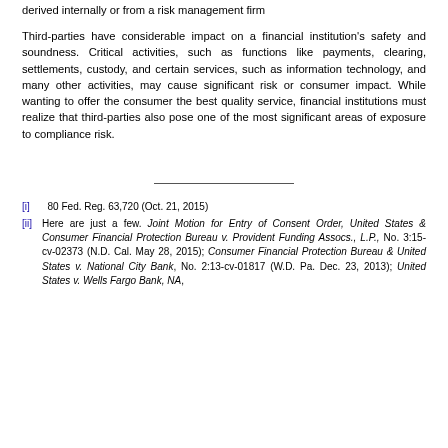derived internally or from a risk management firm
Third-parties have considerable impact on a financial institution's safety and soundness. Critical activities, such as functions like payments, clearing, settlements, custody, and certain services, such as information technology, and many other activities, may cause significant risk or consumer impact. While wanting to offer the consumer the best quality service, financial institutions must realize that third-parties also pose one of the most significant areas of exposure to compliance risk.
[i]  80 Fed. Reg. 63,720 (Oct. 21, 2015)
[ii] Here are just a few. Joint Motion for Entry of Consent Order, United States & Consumer Financial Protection Bureau v. Provident Funding Assocs., L.P., No. 3:15-cv-02373 (N.D. Cal. May 28, 2015); Consumer Financial Protection Bureau & United States v. National City Bank, No. 2:13-cv-01817 (W.D. Pa. Dec. 23, 2013); United States v. Wells Fargo Bank, NA, ...